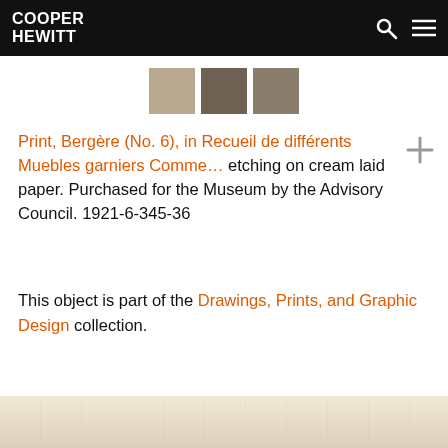COOPER HEWITT
[Figure (other): Three color swatches: light tan/beige, dark gray-brown, medium gray-brown]
Print, Bergère (No. 6), in Recueil de différents Muebles garniers Comme... etching on cream laid paper. Purchased for the Museum by the Advisory Council. 1921-6-345-36
This object is part of the Drawings, Prints, and Graphic Design collection.
[Figure (photo): Bottom strip showing partial view of an etching or print document]